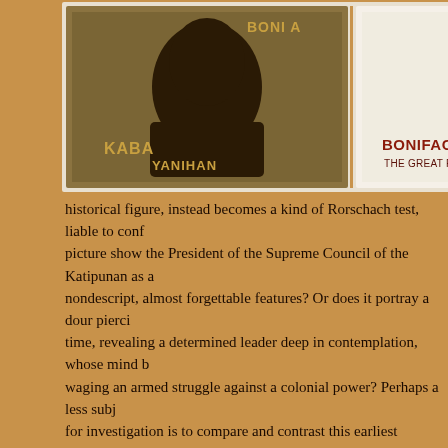[Figure (illustration): Two Philippine postage stamps side by side. Left stamp: dark olive/brown color with a portrait silhouette and text KABA YANIHAN and BONI A (partial). Right stamp: red and white with a figure and text BONIFACIO THE GREAT PLEBEIAN.]
ceremonial rites. It is dated 1 (precursor to today's Cacho prominent printing press and in the country, based in Mani instead of being a precise rep historical figure, instead becomes a kind of Rorschach test, liable to conf picture show the President of the Supreme Council of the Katipunan as a nondescript, almost forgettable features? Or does it portray a dour pierci time, revealing a determined leader deep in contemplation, whose mind b waging an armed struggle against a colonial power? Perhaps a less subj for investigation is to compare and contrast this earliest documented ima to it, or even paid a curious homage to it, by substantially altering his fad image of Bonifacio offers the closest resemblance to the Chofre y Cia ve Scientist Teodoro A. Agoncillo and the National Historical Commission of that depicts the well-known attribution of Bonifacio being of sangley (or C identical in composition with the original, this second image shows him w almond-shaped eyes, a less defined brow, and even modified hair. The b the result of the image being timeworn, offers little room for interjection. I image dating from a February 8, 1897 issue of La Ilustración Española y American weekly publication, features a heavily altered representation of earlier depiction from Chofre y Cia. This modification catered to the Casti and to the waning Spanish Empire's shock–perhaps even awe?–over wh the time as indio impudence. Hence the Bonifacio in this engraving is giv